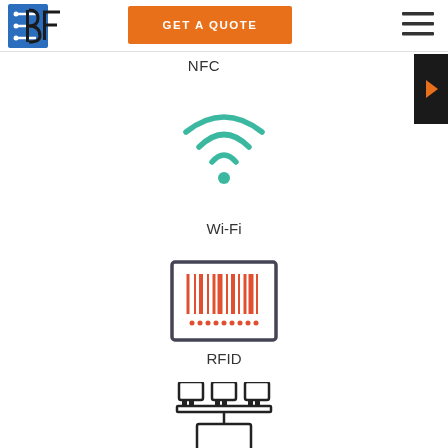[Figure (logo): BF logo with circuit board styling, blue and black]
[Figure (other): Orange 'GET A QUOTE' button]
[Figure (other): Hamburger menu icon (three horizontal lines)]
NFC
[Figure (illustration): Teal/green Wi-Fi signal icon with dot at base and three arcs]
Wi-Fi
[Figure (illustration): RFID barcode icon: rectangular border with red vertical barcode lines and dots]
RFID
[Figure (illustration): Network/switch icon showing three connected ports on top and a rectangle below]